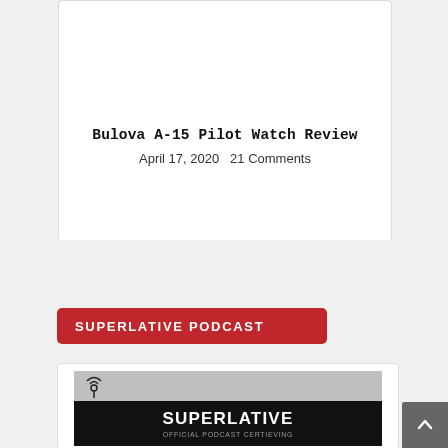[Figure (photo): Close-up photo of a Bulova A-15 pilot watch with dark dial and brown leather strap, resting on brown textured surface]
Bulova A-15 Pilot Watch Review
April 17, 2020   21 Comments
SUPERLATIVE PODCAST
[Figure (screenshot): Podcast card image showing SUPERLATIVE podcast logo with antenna/broadcast icon and text 'SUPERLATIVE' and 'OFFICIAL PODCAST CERTIEVING']